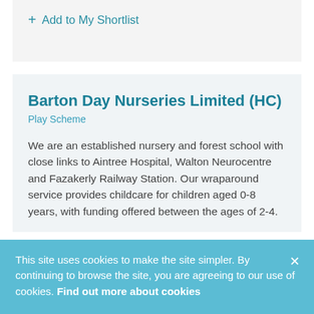+ Add to My Shortlist
Barton Day Nurseries Limited (HC)
Play Scheme
We are an established nursery and forest school with close links to Aintree Hospital, Walton Neurocentre and Fazakerly Railway Station. Our wraparound service provides childcare for children aged 0-8 years, with funding offered between the ages of 2-4.
This site uses cookies to make the site simpler. By continuing to browse the site, you are agreeing to our use of cookies. Find out more about cookies